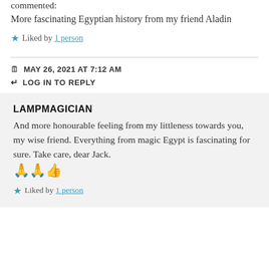commented:
More fascinating Egyptian history from my friend Aladin
★ Liked by 1 person
MAY 26, 2021 AT 7:12 AM
LOG IN TO REPLY
LAMPMAGICIAN
And more honourable feeling from my littleness towards you, my wise friend. Everything from magic Egypt is fascinating for sure. Take care, dear Jack. 🙏🙏👍
★ Liked by 1 person